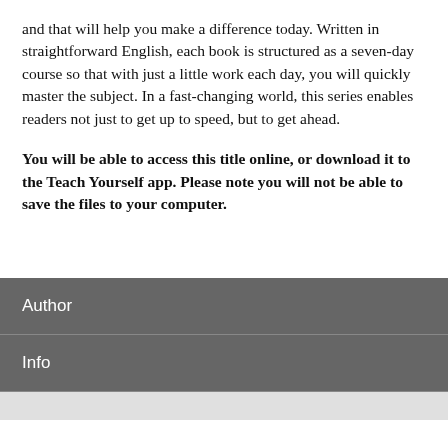and that will help you make a difference today. Written in straightforward English, each book is structured as a seven-day course so that with just a little work each day, you will quickly master the subject. In a fast-changing world, this series enables readers not just to get up to speed, but to get ahead.
You will be able to access this title online, or download it to the Teach Yourself app. Please note you will not be able to save the files to your computer.
Author
Info